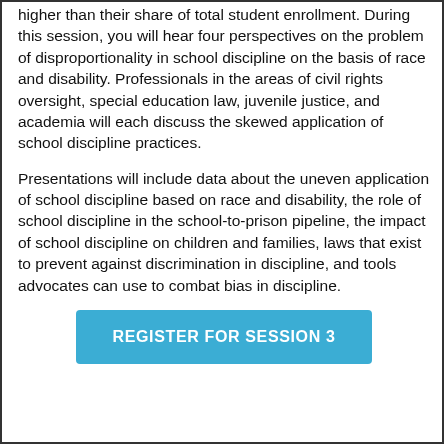higher than their share of total student enrollment. During this session, you will hear four perspectives on the problem of disproportionality in school discipline on the basis of race and disability. Professionals in the areas of civil rights oversight, special education law, juvenile justice, and academia will each discuss the skewed application of school discipline practices.
Presentations will include data about the uneven application of school discipline based on race and disability, the role of school discipline in the school-to-prison pipeline, the impact of school discipline on children and families, laws that exist to prevent against discrimination in discipline, and tools advocates can use to combat bias in discipline.
REGISTER FOR SESSION 3